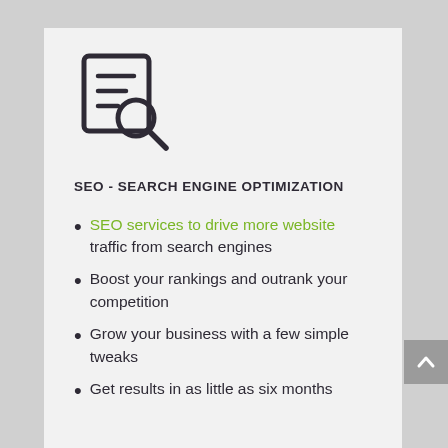[Figure (illustration): SEO icon: a document with text lines and a magnifying glass overlaid, drawn in dark purple outline style]
SEO - SEARCH ENGINE OPTIMIZATION
SEO services to drive more website traffic from search engines
Boost your rankings and outrank your competition
Grow your business with a few simple tweaks
Get results in as little as six months